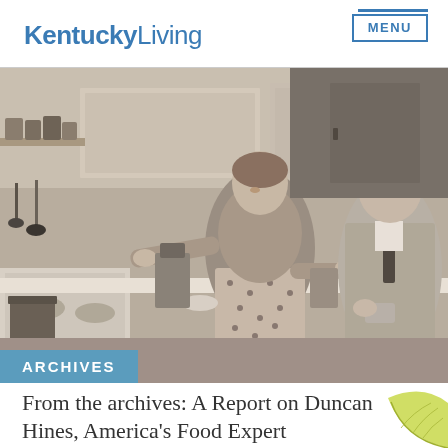KentuckyLiving | MENU
[Figure (photo): Black and white vintage photograph of a woman and older man standing in a kitchen. The woman is smiling and gesturing, wearing a polka dot apron. The man is in a suit. Kitchen appliances and shelves with cans are visible in the background.]
ARCHIVES
From the archives: A Report on Duncan Hines, America's Food Expert